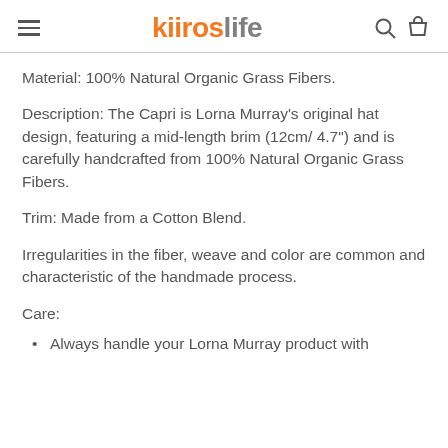kitroslife
Material: 100% Natural Organic Grass Fibers.
Description: The Capri is Lorna Murray's original hat design, featuring a mid-length brim (12cm/ 4.7") and is carefully handcrafted from 100% Natural Organic Grass Fibers.
Trim: Made from a Cotton Blend.
Irregularities in the fiber, weave and color are common and characteristic of the handmade process.
Care:
Always handle your Lorna Murray product with